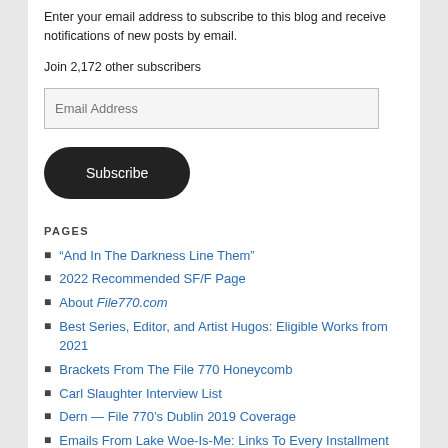Enter your email address to subscribe to this blog and receive notifications of new posts by email.
Join 2,172 other subscribers
[Figure (screenshot): Email Address input field]
[Figure (screenshot): Subscribe button (dark rounded)]
PAGES
“And In The Darkness Line Them”
2022 Recommended SF/F Page
About File770.com
Best Series, Editor, and Artist Hugos: Eligible Works from 2021
Brackets From The File 770 Honeycomb
Carl Slaughter Interview List
Dern — File 770’s Dublin 2019 Coverage
Emails From Lake Woe-Is-Me: Links To Every Installment